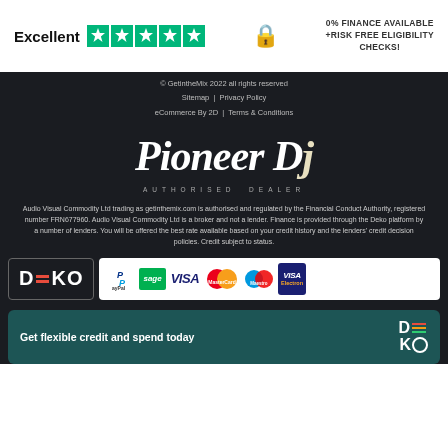[Figure (logo): Trustpilot Excellent rating with green stars, lock icon, and 0% Finance Available +Risk Free Eligibility Checks text]
© GetintheMix 2022 all rights reserved
Sitemap | Privacy Policy
eCommerce By 2D | Terms & Conditions
[Figure (logo): Pioneer DJ logo with Authorised Dealer text]
Audio Visual Commodity Ltd trading as getinthemix.com is authorised and regulated by the Financial Conduct Authority, registered number FRN677960. Audio Visual Commodity Ltd is a broker and not a lender. Finance is provided through the Deko platform by a number of lenders. You will be offered the best rate available based on your credit history and the lenders' credit decision policies. Credit subject to status.
[Figure (logo): Deko logo and payment method logos: PayPal, Sage, Visa, MasterCard, Maestro, Visa Electron]
[Figure (infographic): Teal banner with text Get flexible credit and spend today and Deko logo]